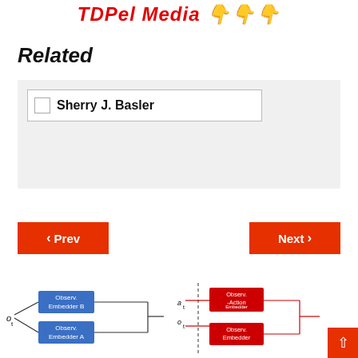TDPel Media ↓↓↓
Related
Sherry J. Basler
< Prev
Next >
[Figure (flowchart): Diagram with blue boxes labeled Observ. Embedder B and Observ. Embedder A with arrows, labels o_t]
[Figure (flowchart): Diagram with red boxes labeled Observ. -Action Embedder and Observ. Embedder with labels a_t, o_t and dashed vertical line]